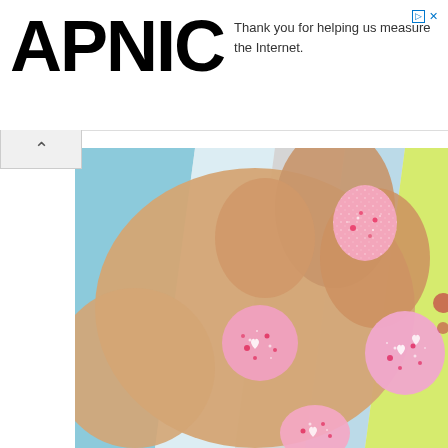[Figure (logo): APNIC logo in large bold black letters]
Thank you for helping us measure the Internet.
[Figure (photo): Close-up photo of a hand with pink glittery nail polish decorated with small hearts and dots, against a striped colorful background (blue, white, yellow-green stripes)]